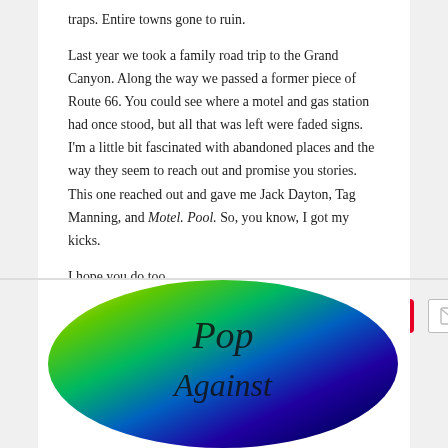traps. Entire towns gone to ruin.

Last year we took a family road trip to the Grand Canyon. Along the way we passed a former piece of Route 66. You could see where a motel and gas station had once stood, but all that was left were faded signs. I'm a little bit fascinated with abandoned places and the way they seem to reach out and promise you stories. This one reached out and gave me Jack Dayton, Tag Manning, and Motel. Pool. So, you know, I got my kicks.

I hope you do too.
[Figure (other): Social sharing buttons: Tweet (blue), Follow (white/orange border), Save (red/Pinterest), and email envelope icon]
[Figure (illustration): Colorful rainbow-colored oval/egg shape with cursive text 'Pop Against' partially visible]